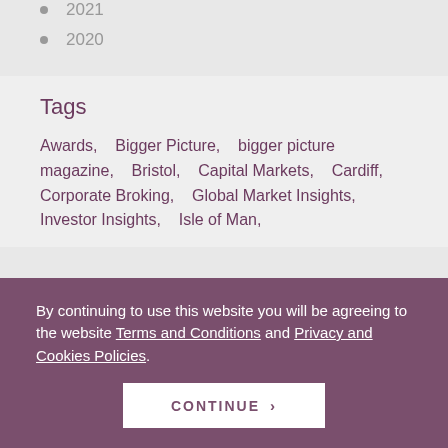2021
2020
Tags
Awards,   Bigger Picture,   bigger picture magazine,   Bristol,   Capital Markets,   Cardiff,   Corporate Broking,   Global Market Insights,   Investor Insights,   Isle of Man
By continuing to use this website you will be agreeing to the website Terms and Conditions and Privacy and Cookies Policies.
CONTINUE >